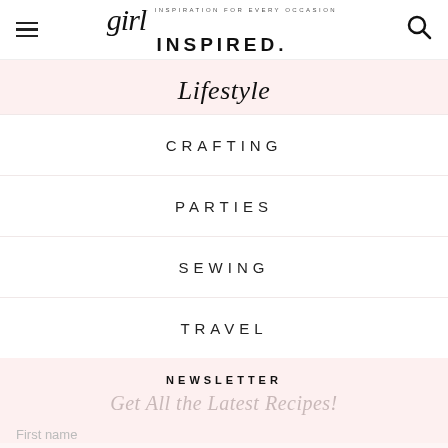girl INSPIRED. · INSPIRATION FOR EVERY OCCASION
Lifestyle
CRAFTING
PARTIES
SEWING
TRAVEL
NEWSLETTER
Get All the Latest Recipes!
First name